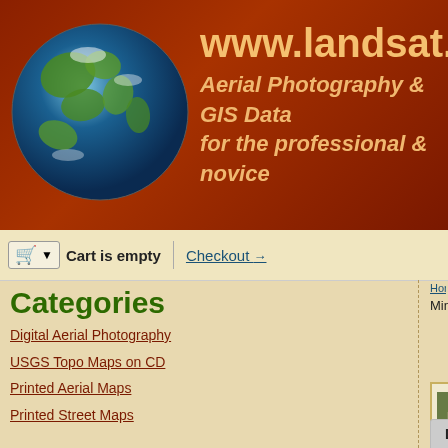[Figure (illustration): Website header banner with globe image on left and www.landsat.com text with tagline 'Aerial Photography & GIS Data for the professional & novice' on dark red/brown background]
www.landsat.com - Aerial Photography & GIS Data for the professional & novice
Cart is empty  Checkout →
Categories
Digital Aerial Photography
USGS Topo Maps on CD
Printed Aerial Maps
Printed Street Maps
Information
List of Aerial Data
Mosaic Dataset for ArcGIS
GIS Services
Home > Digital Aerial Photography > Minnesota
Minnesota
We a
We will
Any order
[Figure (photo): CD disc labeled 'Your County Digital Aerial Photography' with aerial imagery visible]
2004 2 m
CODE: CD-MN-2...
Price: $19.99
Quantity:
Add to Cart
Description  Tags